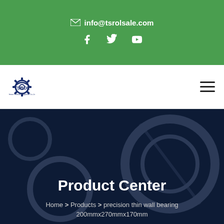✉ info@tsrolsale.com
[Figure (logo): TSROL logo with gear icon and company name]
Product Center
Home > Products > precision thin wall bearing
200mmx270mmx170mm